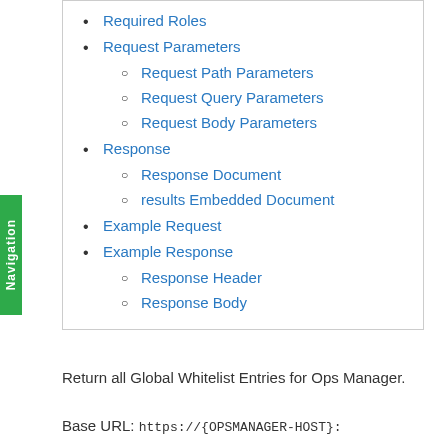Required Roles
Request Parameters
Request Path Parameters
Request Query Parameters
Request Body Parameters
Response
Response Document
results Embedded Document
Example Request
Example Response
Response Header
Response Body
Return all Global Whitelist Entries for Ops Manager.
Base URL: https://{OPSMANAGER-HOST}: